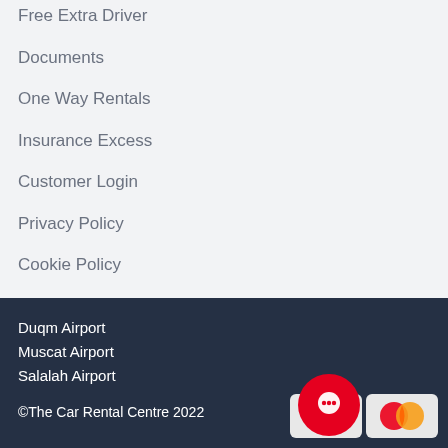Free Extra Driver
Documents
One Way Rentals
Insurance Excess
Customer Login
Privacy Policy
Cookie Policy
Terms
Duqm Airport
Muscat Airport
Salalah Airport
©The Car Rental Centre 2022